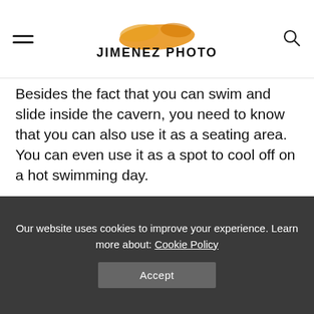JIMENEZ PHOTO
Besides the fact that you can swim and slide inside the cavern, you need to know that you can also use it as a seating area. You can even use it as a spot to cool off on a hot swimming day.
Another benefit that makes grotto a feature you should consider for your small in-ground pool is that it creates a resort-like view in the pool area.
Our website uses cookies to improve your experience. Learn more about: Cookie Policy